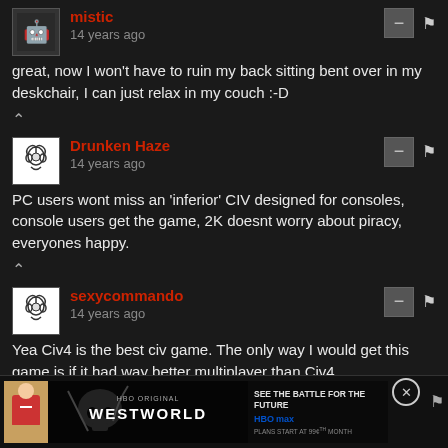mistic
14 years ago
great, now I won't have to ruin my back sitting bent over in my deskchair, I can just relax in my couch :-D
Drunken Haze
14 years ago
PC users wont miss an 'inferior' CIV designed for consoles, console users get the game, 2K doesnt worry about piracy, everyones happy.
sexycommando
14 years ago
Yea Civ4 is the best civ game. The only way I would get this game is if it had way better multiplayer than Civ4.
[Figure (screenshot): Westworld HBO Max advertisement banner at bottom of page]